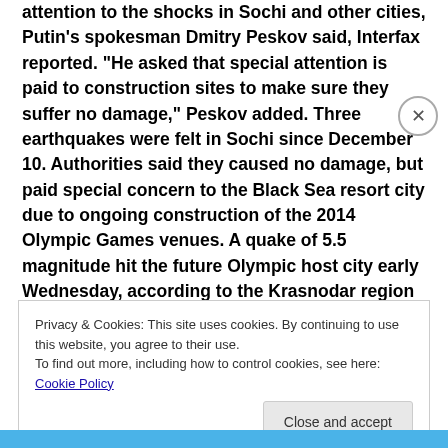attention to the shocks in Sochi and other cities, Putin's spokesman Dmitry Peskov said, Interfax reported. "He asked that special attention is paid to construction sites to make sure they suffer no damage," Peskov added. Three earthquakes were felt in Sochi since December 10. Authorities said they caused no damage, but paid special concern to the Black Sea resort city due to ongoing construction of the 2014 Olympic Games venues. A quake of 5.5 magnitude hit the future Olympic host city early Wednesday, according to the Krasnodar region
Privacy & Cookies: This site uses cookies. By continuing to use this website, you agree to their use. To find out more, including how to control cookies, see here: Cookie Policy